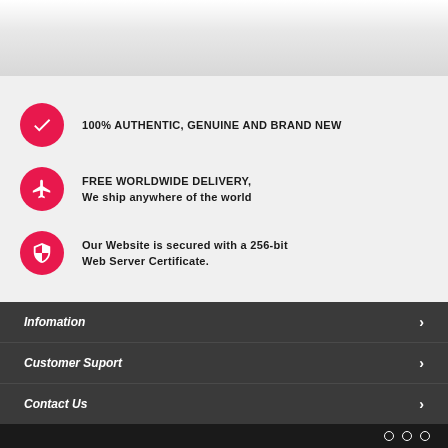[Figure (illustration): Top banner with light gray wood-grain texture background]
100% AUTHENTIC, GENUINE AND BRAND NEW
FREE WORLDWIDE DELIVERY, We ship anywhere of the world
Our Website is secured with a 256-bit Web Server Certificate.
Infomation
Customer Suport
Contact Us
○ ○ ○